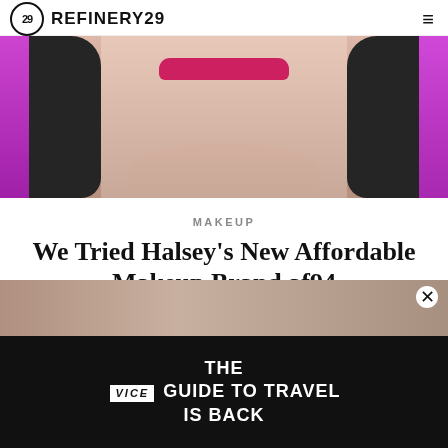REFINERY29
[Figure (photo): Close-up photo of a woman with dark hair wearing bright pink/magenta lipstick, touching her chin with her hand. Photo has purple/magenta gradient borders on the sides.]
MAKEUP
We Tried Halsey’s New Affordable Makeup Brand af94
KARINA HOSHIKAWA    JULY 27, 2022 7:46 PM
[Figure (photo): Partial photo visible behind advertisement overlay showing a person. An ad banner overlays the bottom of the page with black background reading 'THE VICE GUIDE TO TRAVEL IS BACK' with Vice logo.]